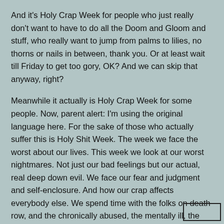And it's Holy Crap Week for people who just really don't want to have to do all the Doom and Gloom and stuff, who really want to jump from palms to lilies, no thorns or nails in between, thank you. Or at least wait till Friday to get too gory, OK? And we can skip that anyway, right?
Meanwhile it actually is Holy Crap Week for some people. Now, parent alert: I'm using the original language here. For the sake of those who actually suffer this is Holy Shit Week. The week we face the worst about our lives. This week we look at our worst nightmares. Not just our bad feelings but our actual, real deep down evil. We face our fear and judgment and self-enclosure. And how our crap affects everybody else. We spend time with the folks on death row, and the chronically abused, the mentally ill, the desperate refugees. For a week we face the looming cancer, the floundering marriage, the festering shame. We don't get to skip facing how people are tortured for our sake. And we don't get to sar